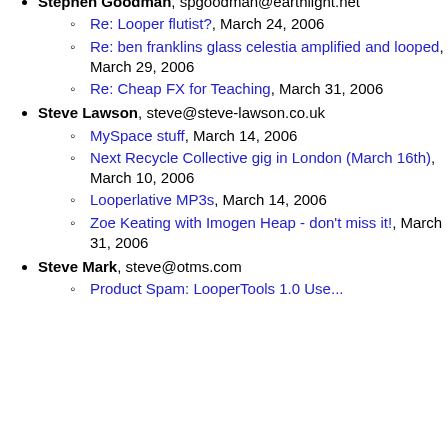Stephen Goodman, spgoodman@earthlight.net
Re: Looper flutist?, March 24, 2006
Re: ben franklins glass celestia amplified and looped, March 29, 2006
Re: Cheap FX for Teaching, March 31, 2006
Steve Lawson, steve@steve-lawson.co.uk
MySpace stuff, March 14, 2006
Next Recycle Collective gig in London (March 16th), March 10, 2006
Looperlative MP3s, March 14, 2006
Zoe Keating with Imogen Heap - don't miss it!, March 31, 2006
Steve Mark, steve@otms.com
Product Spam: LooperTools 1.0 Use...